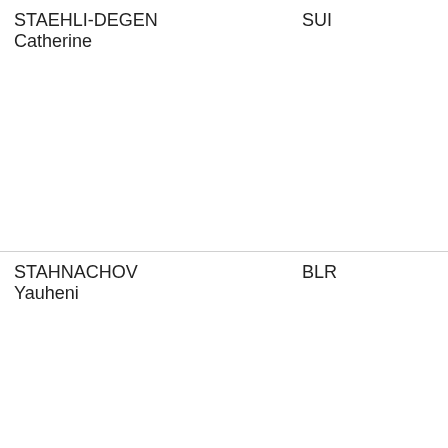| Name | Country | Event | Club |
| --- | --- | --- | --- |
| STAEHLI-DEGEN Catherine | SUI |  | SEB Basel (SU... |
| STAHNACHOV Yauheni | BLR |  | SC TUFB (BLR... |
| STAMBROUSKAYA Alina | BLR |  |  |
| STAPLETON Lindsay | USA |  |  |
| STASULANS Toms | LAT |  |  |
| STEACY Sarah | IRL | HH | ETV Hamburg (GER) |
| STEFANIC Igor | CRO |  | MK Rapir (CRO... |
| STEFFLOVA Tereza | CZE |  | USK Praha (CZ... |
| STEINBERG Maria | ESP |  |  |